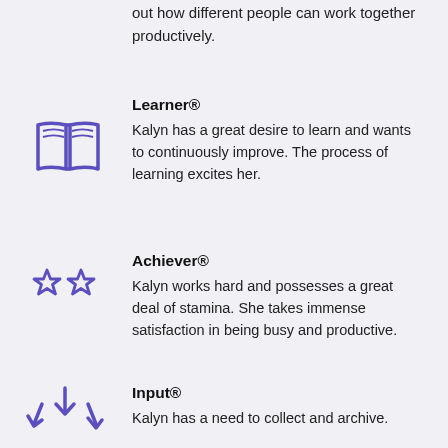out how different people can work together productively.
Learner®
Kalyn has a great desire to learn and wants to continuously improve. The process of learning excites her.
Achiever®
Kalyn works hard and possesses a great deal of stamina. She takes immense satisfaction in being busy and productive.
Input®
Kalyn has a need to collect and archive.